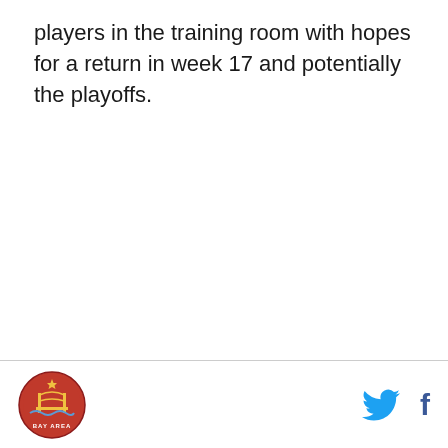players in the training room with hopes for a return in week 17 and potentially the playoffs.
Bay Area logo, Twitter icon, Facebook icon